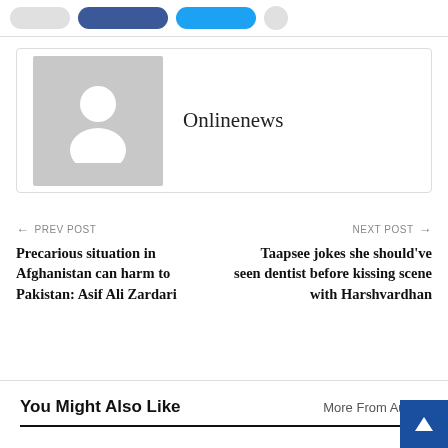[Figure (other): Social sharing buttons: a gray pill, a Facebook blue pill, a Twitter light-blue pill, and a gray circle button]
[Figure (other): Author card with gray placeholder avatar (person silhouette) and the name Onlinenews]
Onlinenews
← PREV POST
Precarious situation in Afghanistan can harm to Pakistan: Asif Ali Zardari
NEXT POST →
Taapsee jokes she should've seen dentist before kissing scene with Harshvardhan
You Might Also Like
More From Author